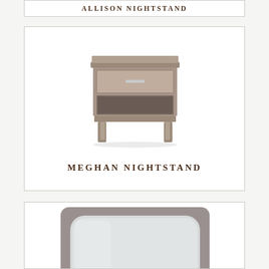[Figure (photo): Partial view of Allison Nightstand product card, cropped at top of page]
[Figure (photo): Meghan Nightstand – gray wood nightstand with one drawer featuring a silver bar pull and open shelf below, four tapered legs]
MEGHAN NIGHTSTAND
[Figure (photo): Partial view of a gray wood-framed mirror with rounded rectangle opening, shown at bottom of page]